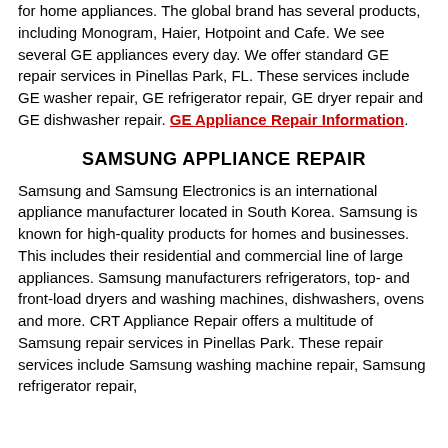for home appliances. The global brand has several products, including Monogram, Haier, Hotpoint and Cafe. We see several GE appliances every day. We offer standard GE repair services in Pinellas Park, FL. These services include GE washer repair, GE refrigerator repair, GE dryer repair and GE dishwasher repair. GE Appliance Repair Information.
SAMSUNG APPLIANCE REPAIR
Samsung and Samsung Electronics is an international appliance manufacturer located in South Korea. Samsung is known for high-quality products for homes and businesses. This includes their residential and commercial line of large appliances. Samsung manufacturers refrigerators, top- and front-load dryers and washing machines, dishwashers, ovens and more. CRT Appliance Repair offers a multitude of Samsung repair services in Pinellas Park. These repair services include Samsung washing machine repair, Samsung refrigerator repair, Samsung dryer repair, Samsung dishwasher repair.